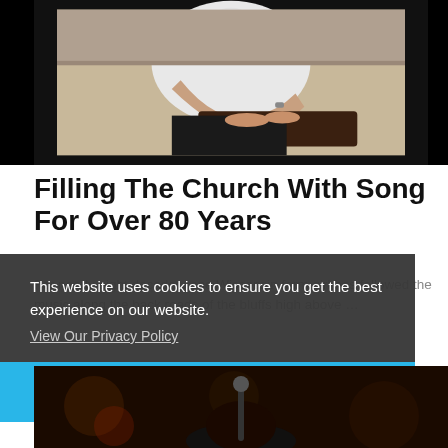[Figure (photo): A person in a white turtleneck sweater sitting at and playing a piano, seen from the side, with black borders on left and right of the image.]
Filling The Church With Song For Over 80 Years
For nearly eight decades, one Wisconsin farm girl has followed the music along the back roads of the bluffs high above …
This website uses cookies to ensure you get the best experience on our website.
View Our Privacy Policy
Got it!
[Figure (photo): A dark photo showing a person, partially visible at the bottom of the page.]